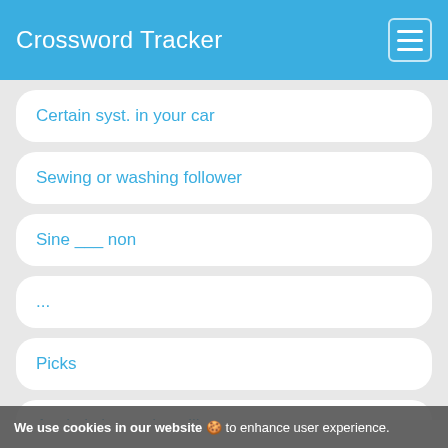Crossword Tracker
Certain syst. in your car
Sewing or washing follower
Sine ___ non
...
Picks
Annie is becoming silly
Sleep audibly
NBA's Johnny and Steve
Complain
We use cookies in our website 🍪 to enhance user experience.